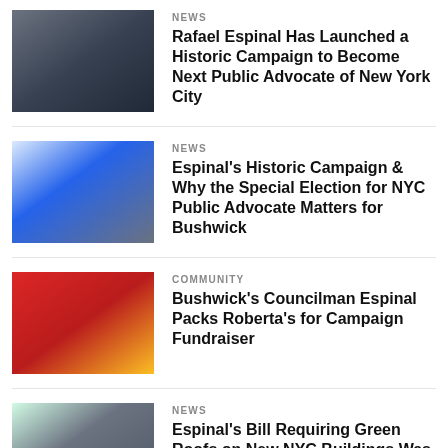[Figure (photo): People standing outdoors, man with microphone at a rally]
NEWS
Rafael Espinal Has Launched a Historic Campaign to Become Next Public Advocate of New York City
[Figure (photo): Man in suit next to a blue 'Give A Sip NYC' banner]
NEWS
Espinal's Historic Campaign & Why the Special Election for NYC Public Advocate Matters for Bushwick
[Figure (photo): Red campaign poster with 'Vote' and 'Espinal' text]
COMMUNITY
Bushwick's Councilman Espinal Packs Roberta's for Campaign Fundraiser
[Figure (photo): Person crouching in a green rooftop garden]
NEWS
Espinal's Bill Requiring Green Roofs on New NYC Buildings Was Passed